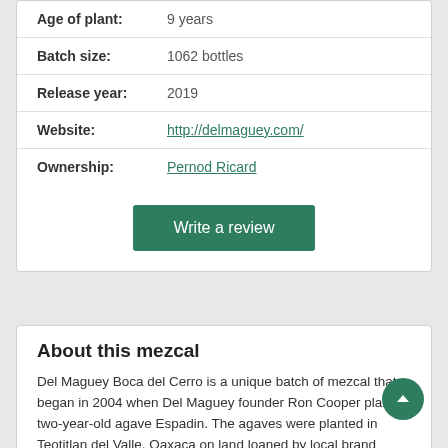| Age of plant: | 9 years |
| Batch size: | 1062 bottles |
| Release year: | 2019 |
| Website: | http://delmaguey.com/ |
| Ownership: | Pernod Ricard |
Write a review
About this mezcal
Del Maguey Boca del Cerro is a unique batch of mezcal that began in 2004 when Del Maguey founder Ron Cooper planted two-year-old agave Espadin. The agaves were planted in Teotitlan del Valle, Oaxaca on land loaned by local brand partners with a 50/50 arrangement: the landowners were to be